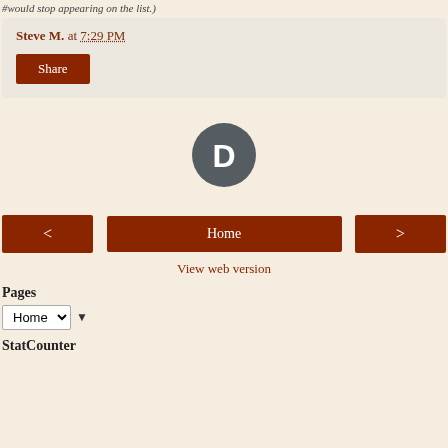#would stop appearing on the list.)
Steve M. at 7:29 PM
Share
[Figure (logo): Disqus logo: a dark grey speech bubble circle with a white letter D inside]
< Home >
View web version
Pages
Home ▼
StatCounter